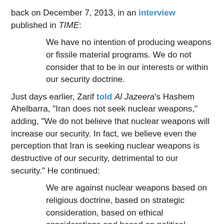back on December 7, 2013, in an interview published in TIME:
We have no intention of producing weapons or fissile material programs. We do not consider that to be in our interests or within our security doctrine.
Just days earlier, Zarif told Al Jazeera's Hashem Ahelbarra, "Iran does not seek nuclear weapons," adding, "We do not believe that nuclear weapons will increase our security. In fact, we believe even the perception that Iran is seeking nuclear weapons is destructive of our security, detrimental to our security." He continued:
We are against nuclear weapons based on religious doctrine, based on strategic consideration, based on ethical considerations and based on political considerations and legal considerations. So for us, nuclear weapons have no place whatsoever in our defense doctrines.
While for decades Iranian officials have stressed